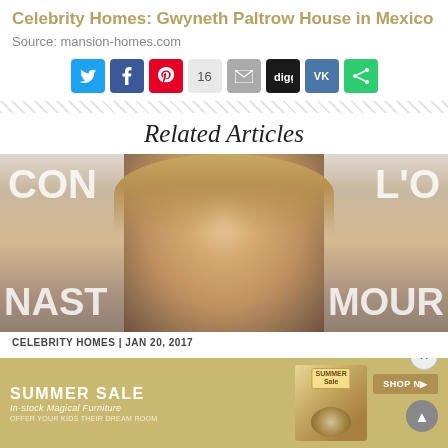Celebrity Homes: Gwyneth Paltrow House in Mexico
Source: mansion-homes.com
[Figure (screenshot): Social media share buttons: Twitter, Facebook, Pinterest (16 shares), Email, Digg, VK, Share More]
Related Articles
[Figure (photo): Photo of a blonde woman smiling at a red-carpet style event with CON and L'O backdrop lettering visible, NAST and MOUR at bottom]
CELEBRITY HOMES | JAN 20, 2017
[Figure (infographic): Summer Sale advertisement banner: SUMMER SALE - In-stock Magical Furniture - OFFER YOUR KIDS THEIR DREAM ROOM, with product image and SHOP NOW button]